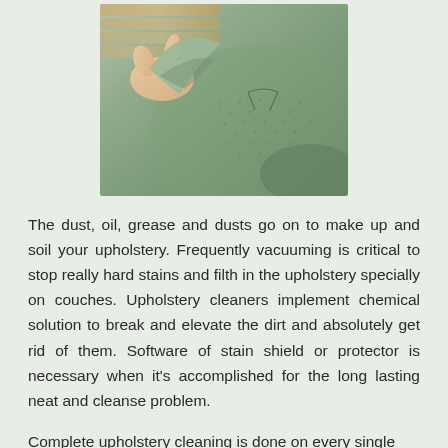[Figure (photo): Close-up photo of a hand lifting or checking the corner of a grey-green upholstered cushion or furniture piece, revealing the fabric texture and construction underneath.]
The dust, oil, grease and dusts go on to make up and soil your upholstery. Frequently vacuuming is critical to stop really hard stains and filth in the upholstery specially on couches. Upholstery cleaners implement chemical solution to break and elevate the dirt and absolutely get rid of them. Software of stain shield or protector is necessary when it’s accomplished for the long lasting neat and cleanse problem.
Complete upholstery cleaning is done on every single